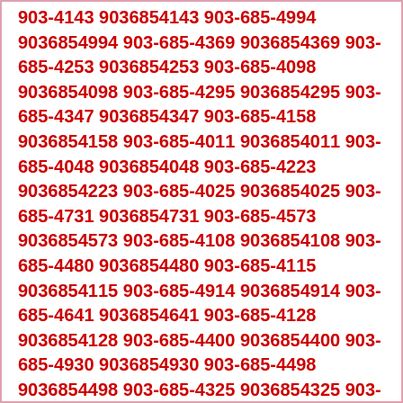903-4143 9036854143 903-685-4994 9036854994 903-685-4369 9036854369 903-685-4253 9036854253 903-685-4098 9036854098 903-685-4295 9036854295 903-685-4347 9036854347 903-685-4158 9036854158 903-685-4011 9036854011 903-685-4048 9036854048 903-685-4223 9036854223 903-685-4025 9036854025 903-685-4731 9036854731 903-685-4573 9036854573 903-685-4108 9036854108 903-685-4480 9036854480 903-685-4115 9036854115 903-685-4914 9036854914 903-685-4641 9036854641 903-685-4128 9036854128 903-685-4400 9036854400 903-685-4930 9036854930 903-685-4498 9036854498 903-685-4325 9036854325 903-685-4653 9036854653 903-685-4745 9036854745 903-685-4953 9036854953 903-685-4297 9036854297 903-685-4685 9036854685 903-685-4546 9036854546 903-685-4039 9036854039 903-685-4562 9036854562 903-685-4350 9036854350 903-685-4079 9036854079 903-685-4772